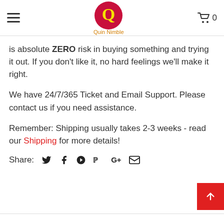Quin Nimble — navigation header with logo and cart
is absolute ZERO risk in buying something and trying it out. If you don't like it, no hard feelings we'll make it right.
We have 24/7/365 Ticket and Email Support. Please contact us if you need assistance.
Remember: Shipping usually takes 2-3 weeks - read our Shipping for more details!
Share: